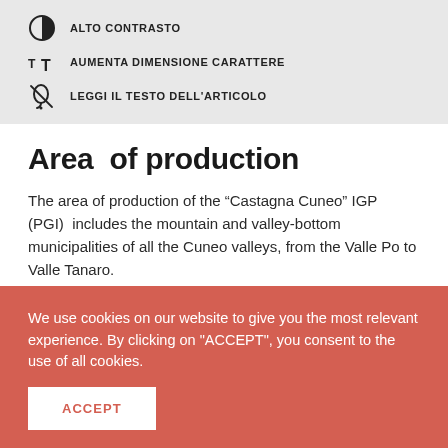ALTO CONTRASTO
AUMENTA DIMENSIONE CARATTERE
LEGGI IL TESTO DELL'ARTICOLO
Area  of production
The area of production of the “Castagna Cuneo” IGP (PGI)  includes the mountain and valley-bottom municipalities of all the Cuneo valleys, from the Valle Po to Valle Tanaro.
We use cookies on our website to give you the most relevant experience. By clicking on "ACCEPT", you consent to the use of all cookies.